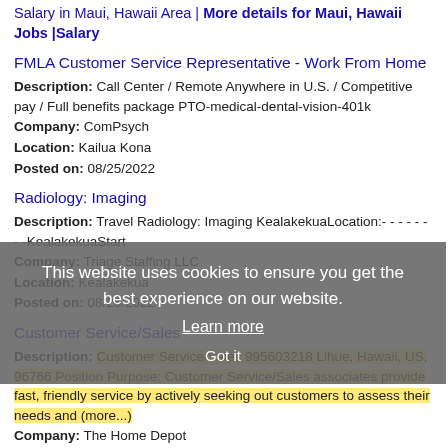Salary in Maui, Hawaii Area | More details for Maui, Hawaii Jobs |Salary
FMLA Customer Service Representative - Work From Home
Description: Call Center / Remote Anywhere in U.S. / Competitive pay / Full benefits package PTO-medical-dental-vision-401k
Company: ComPsych
Location: Kailua Kona
Posted on: 08/25/2022
Radiology: Imaging
Description: Travel Radiology: Imaging KealakekuaLocation:- - - - - - - -KealakekuaStart
Company: Triage Staffing LLC
Location: Kealakekua
Posted on: 08/25/2022
Customer Service/Sales
Description: Customer Service/Sales 995603218 Lihue, Hawaii, US, 96766 Position Purpose: Customer Service/Sales associates provide fast, friendly service by actively seeking out customers to assess their needs and (more...)
Company: The Home Depot
Location: Lihue